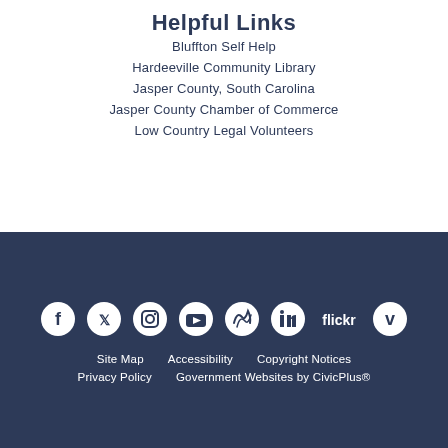Helpful Links
Bluffton Self Help
Hardeeville Community Library
Jasper County, South Carolina
Jasper County Chamber of Commerce
Low Country Legal Volunteers
[Figure (infographic): Social media icons row: Facebook, Twitter, Instagram, YouTube, a wave/arc icon, LinkedIn, Flickr (text), Vimeo]
Site Map   Accessibility   Copyright Notices
Privacy Policy   Government Websites by CivicPlus®